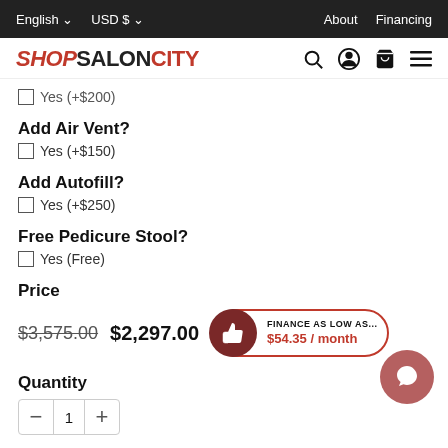English  USD $  About  Financing
[Figure (logo): ShopSalonCity logo with search, account, cart, and menu icons]
Yes (+$200)
Add Air Vent?
Yes (+$150)
Add Autofill?
Yes (+$250)
Free Pedicure Stool?
Yes (Free)
Price
$3,575.00  $2,297.00  FINANCE AS LOW AS... $54.35 / month
Quantity
1